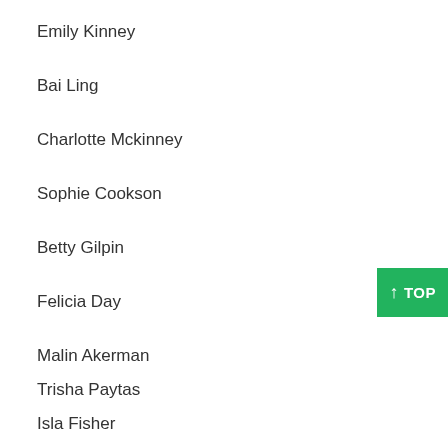Emily Kinney
Bai Ling
Charlotte Mckinney
Sophie Cookson
Betty Gilpin
Felicia Day
Malin Akerman
Trisha Paytas
Isla Fisher
Ashley Tisdale